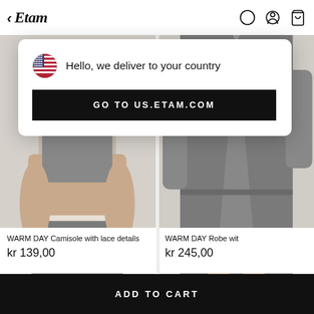< Etam
Hello, we deliver to your country
GO TO US.ETAM.COM
[Figure (photo): Model wearing grey WARM DAY Camisole with lace detail shorts, arms crossed]
WARM DAY Camisole with lace details
kr 139,00
[Figure (photo): Model wearing grey WARM DAY Robe, partially visible]
WARM DAY Robe wit
kr 245,00
ADD TO CART